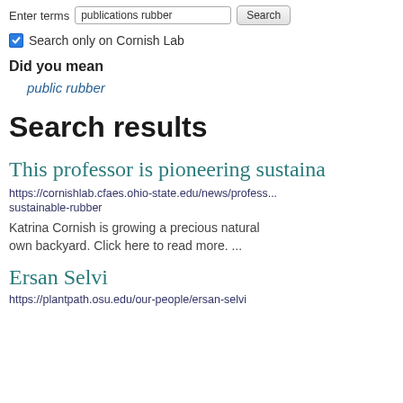Enter terms  publications rubber  Search
Search only on Cornish Lab
Did you mean
public rubber
Search results
This professor is pioneering sustaina...
https://cornishlab.cfaes.ohio-state.edu/news/profess... sustainable-rubber
Katrina Cornish is growing a precious natural... own backyard. Click here to read more. ...
Ersan Selvi
https://plantpath.osu.edu/our-people/ersan-selvi